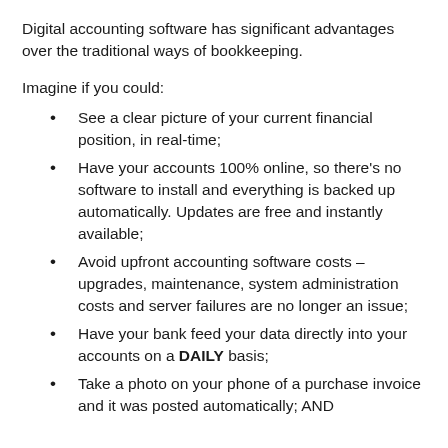Digital accounting software has significant advantages over the traditional ways of bookkeeping.
Imagine if you could:
See a clear picture of your current financial position, in real-time;
Have your accounts 100% online, so there's no software to install and everything is backed up automatically. Updates are free and instantly available;
Avoid upfront accounting software costs – upgrades, maintenance, system administration costs and server failures are no longer an issue;
Have your bank feed your data directly into your accounts on a DAILY basis;
Take a photo on your phone of a purchase invoice and it was posted automatically; AND